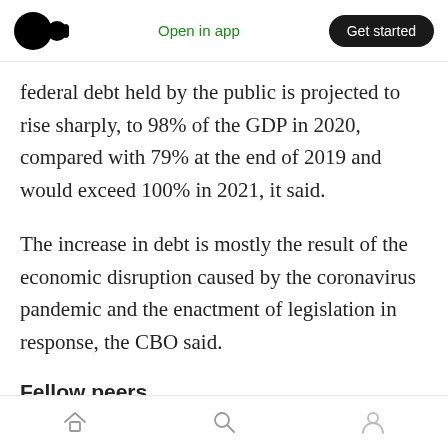Open in app | Get started
federal debt held by the public is projected to rise sharply, to 98% of the GDP in 2020, compared with 79% at the end of 2019 and would exceed 100% in 2021, it said.
The increase in debt is mostly the result of the economic disruption caused by the coronavirus pandemic and the enactment of legislation in response, the CBO said.
Fellow peers
The United Kingdom (UK) government debt rose above 100% of GDP in May for the first time since
Home | Search | Profile